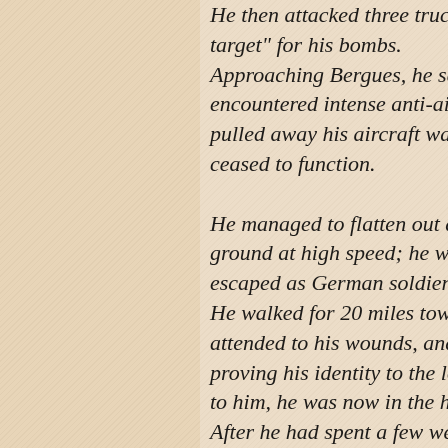He then attacked three trucks as h target" for his bombs. Approaching Bergues, he saw a lo encountered intense anti-aircraft f pulled away his aircraft was hit, p ceased to function. He managed to flatten out as he b ground at high speed; he was rend escaped as German soldiers appea He walked for 20 miles towards St attended to his wounds, and he wa proving his identity to the local Re to him, he was now in the hands o After he had spent a few weeks in before he cycled to a remote farmh and at nightfall the Basque guide Spain, where he was collected by He was moved to Gibraltar, and o debriefing in London he returned Robert Edward Barckley was born 1938 he joined a territorial battali British Expeditionary Force. He w